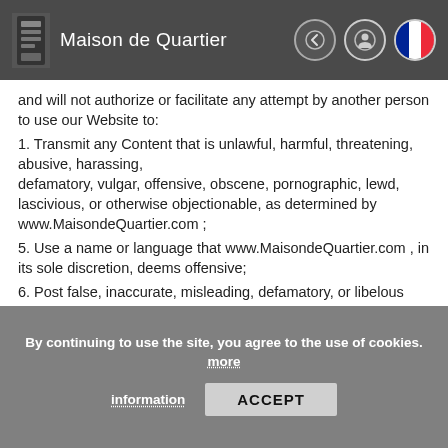Maison de Quartier
and will not authorize or facilitate any attempt by another person to use our Website to:
1. Transmit any Content that is unlawful, harmful, threatening, abusive, harassing, defamatory, vulgar, offensive, obscene, pornographic, lewd, lascivious, or otherwise objectionable, as determined by www.MaisondeQuartier.com ;
5. Use a name or language that www.MaisondeQuartier.com , in its sole discretion, deems offensive;
6. Post false, inaccurate, misleading, defamatory, or libelous content (including personal data);
7. Post hateful or racially or ethnically objectionable Content;
8. Post Content which infringes another's copyright, trademark or trade secret;
9. Advertise or offer to sell any goods or services for any commercial purpose through the Service;
By continuing to use the site, you agree to the use of cookies. more information
ACCEPT